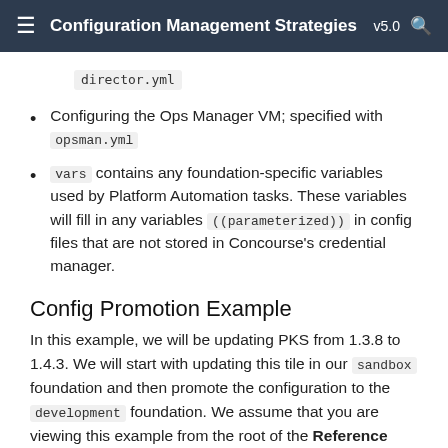Configuration Management Strategies v5.0
director.yml
Configuring the Ops Manager VM; specified with opsman.yml
vars contains any foundation-specific variables used by Platform Automation tasks. These variables will fill in any variables ((parameterized)) in config files that are not stored in Concourse's credential manager.
Config Promotion Example
In this example, we will be updating PKS from 1.3.8 to 1.4.3. We will start with updating this tile in our sandbox foundation and then promote the configuration to the development foundation. We assume that you are viewing this example from the root of the Reference Pipeline